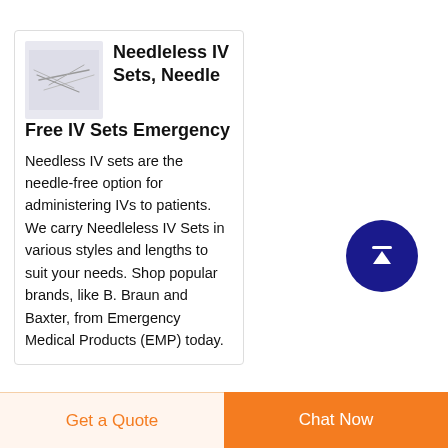[Figure (photo): Small product thumbnail image of needleless IV set on light purple/grey background]
Needleless IV Sets, Needle Free IV Sets Emergency
Needless IV sets are the needle-free option for administering IVs to patients. We carry Needleless IV Sets in various styles and lengths to suit your needs. Shop popular brands, like B. Braun and Baxter, from Emergency Medical Products (EMP) today.
[Figure (other): Dark blue circular scroll-to-top button with white upward arrow icon]
Get a Quote   Chat Now